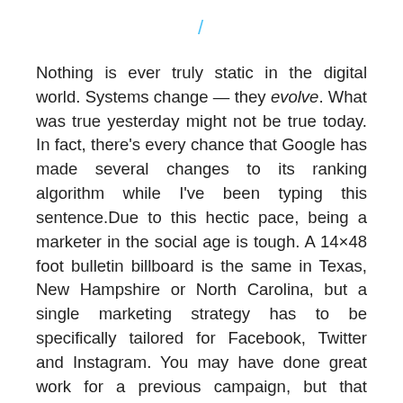/
Nothing is ever truly static in the digital world. Systems change — they evolve. What was true yesterday might not be true today. In fact, there's every chance that Google has made several changes to its ranking algorithm while I've been typing this sentence.Due to this hectic pace, being a marketer in the social age is tough. A 14×48 foot bulletin billboard is the same in Texas, New Hampshire or North Carolina, but a single marketing strategy has to be specifically tailored for Facebook, Twitter and Instagram. You may have done great work for a previous campaign, but that doesn't matter now — you need to start from scratch again, even while maintaining brand